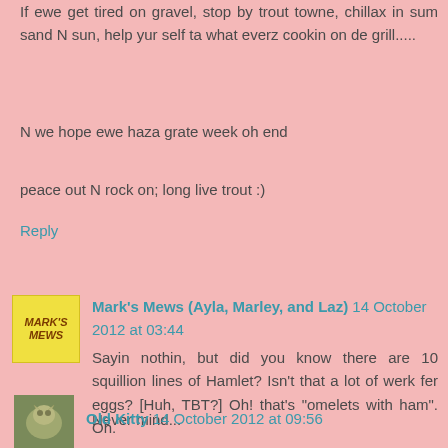If ewe get tired on gravel, stop by trout towne, chillax in sum sand N sun, help yur self ta what everz cookin on de grill.....
N we hope ewe haza grate week oh end
peace out N rock on; long live trout :)
Reply
[Figure (illustration): Yellow sticky note avatar with text Mark's Mews in italic brown handwriting]
Mark's Mews (Ayla, Marley, and Laz) 14 October 2012 at 03:44
Sayin nothin, but did you know there are 10 squillion lines of Hamlet? Isn't that a lot of werk fer eggs? [Huh, TBT?] Oh! that's "omelets with ham". Oh.
Never mind...
Reply
[Figure (photo): Small avatar photo of Old Kitty, appears to be a cat photo with green/brown tones]
Old Kitty 14 October 2012 at 09:56